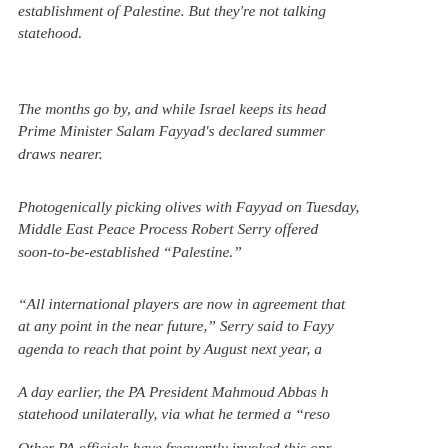establishment of  Palestine.  But they're not talking statehood.
The months go by, and while Israel keeps its head in the sand, Prime Minister Salam Fayyad's declared summer 2011 deadline draws nearer.
Photogenically picking olives with Fayyad on Tuesday, UN Envoy for Middle East Peace Process Robert Serry offered his congrats to the soon-to-be-established “Palestine.”
“All international players are now in agreement that this can happen at any point in the near future,” Serry said to Fayyad. “You have an agenda to reach that point by August next year, and we support you.”
A day earlier, the PA President Mahmoud Abbas hinted at declaring statehood unilaterally, via what he termed a “reso…
Other PA officials have frequently invoked this op… torpedoing of peace hopes and looking to the inte… recognition.